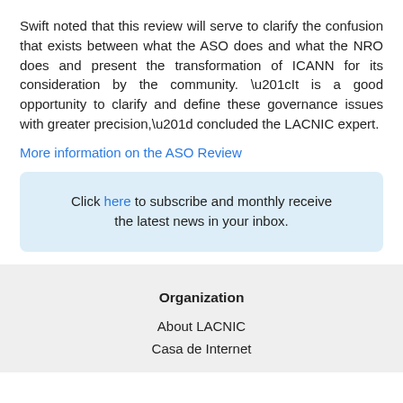Swift noted that this review will serve to clarify the confusion that exists between what the ASO does and what the NRO does and present the transformation of ICANN for its consideration by the community. “It is a good opportunity to clarify and define these governance issues with greater precision,” concluded the LACNIC expert.
More information on the ASO Review
Click here to subscribe and monthly receive the latest news in your inbox.
Organization
About LACNIC
Casa de Internet